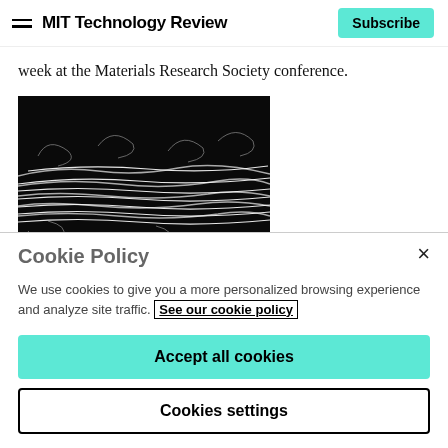MIT Technology Review | Subscribe
week at the Materials Research Society conference.
[Figure (photo): Scanning electron microscope image of a carbon-nanotube yarn showing bundled and looping nanotubes with a scale bar reading 2 μm]
Carbon-nanotube yarns such as this one can be used as powerful
Cookie Policy
We use cookies to give you a more personalized browsing experience and analyze site traffic. See our cookie policy
Accept all cookies
Cookies settings